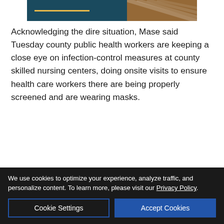[Figure (illustration): Partial view of a banner/header image with teal/dark blue background, yellow/gold horizontal line, and orange diagonal stripe pattern on right side.]
Acknowledging the dire situation, Mase said Tuesday county public health workers are keeping a close eye on infection-control measures at county skilled nursing centers, doing onsite visits to ensure health care workers there are being properly screened and are wearing masks.
Mase also said she’s trying to figure out a way to limit people from working at more than one nursing center or resid
[Figure (illustration): Exchange Bank advertisement: orange EB logo on left, dark navy background with 'Community Strong.' text in white, Member FDIC and equal housing lender logos on right.]
We use cookies to optimize your experience, analyze traffic, and personalize content. To learn more, please visit our Privacy Policy.
Cookie Settings
Accept Cookies